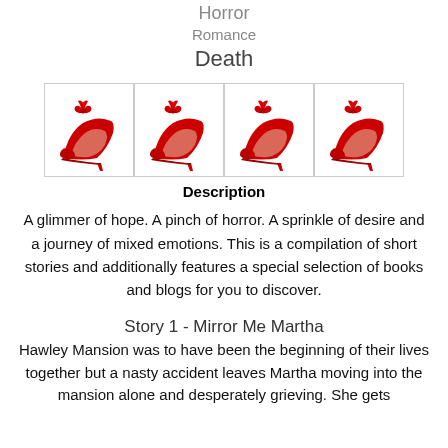Horror
Romance
Death
[Figure (illustration): Four red high-heel shoes with red bows, each in a white bordered box arranged in a row]
Description
A glimmer of hope. A pinch of horror. A sprinkle of desire and a journey of mixed emotions. This is a compilation of short stories and additionally features a special selection of books and blogs for you to discover.
Story 1 - Mirror Me Martha
Hawley Mansion was to have been the beginning of their lives together but a nasty accident leaves Martha moving into the mansion alone and desperately grieving. She gets